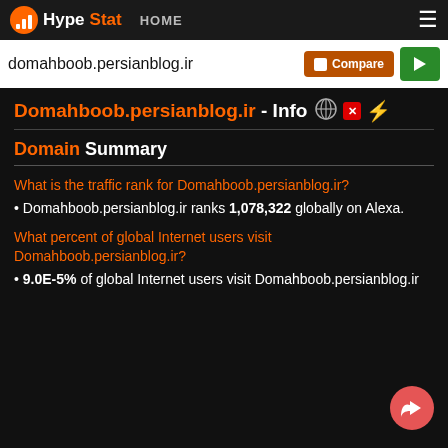HypeStat HOME
domahboob.persianblog.ir
Domahboob.persianblog.ir - Info
Domain Summary
What is the traffic rank for Domahboob.persianblog.ir?
Domahboob.persianblog.ir ranks 1,078,322 globally on Alexa.
What percent of global Internet users visit Domahboob.persianblog.ir?
9.0E-5% of global Internet users visit Domahboob.persianblog.ir